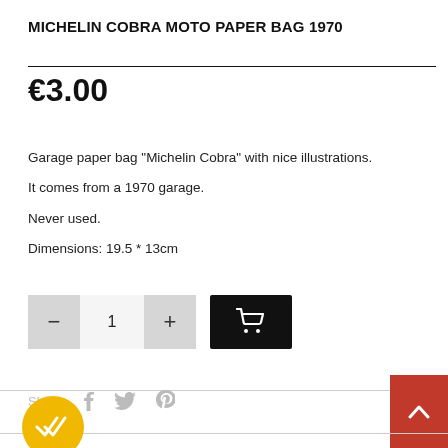MICHELIN COBRA MOTO PAPER BAG 1970
€3.00
Garage paper bag  "Michelin Cobra" with nice illustrations.
It comes from a 1970 garage.
Never used.
Dimensions: 19.5 * 13cm